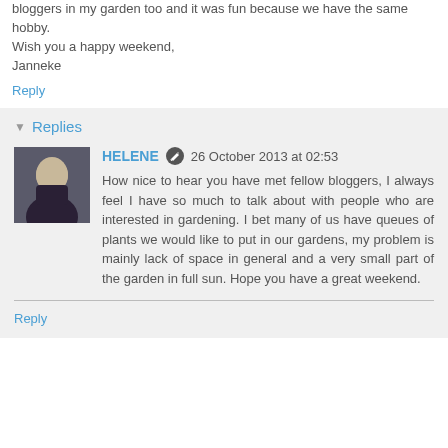bloggers in my garden too and it was fun because we have the same hobby.
Wish you a happy weekend,
Janneke
Reply
Replies
HELENE  26 October 2013 at 02:53
How nice to hear you have met fellow bloggers, I always feel I have so much to talk about with people who are interested in gardening. I bet many of us have queues of plants we would like to put in our gardens, my problem is mainly lack of space in general and a very small part of the garden in full sun. Hope you have a great weekend.
Reply